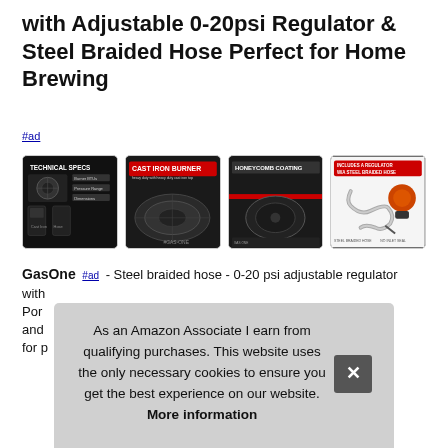with Adjustable 0-20psi Regulator & Steel Braided Hose Perfect for Home Brewing
#ad
[Figure (photo): Four product thumbnail images showing technical specs, cast iron burner, honeycomb coating, and regulator with steel braided hose]
GasOne #ad - Steel braided hose - 0-20 psi adjustable regulator with... Portable... and... for p...
As an Amazon Associate I earn from qualifying purchases. This website uses the only necessary cookies to ensure you get the best experience on our website. More information